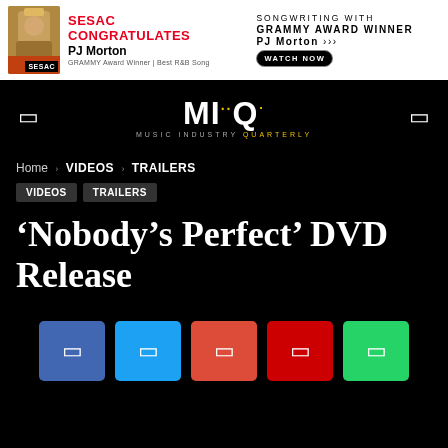[Figure (screenshot): SESAC advertisement banner featuring PJ Morton, Grammy Award Winner for Best R&B Song, with 'Songwriting with Grammy Award Winner PJ Morton - Watch Now' on the right side]
[Figure (logo): Music Industry Quarterly (MIQ) logo in white with golden Q dot, centered on black background]
Home › VIDEOS › TRAILERS
VIDEOS
TRAILERS
'Nobody's Perfect' DVD Release
[Figure (infographic): Social sharing buttons: Facebook (blue), Twitter (cyan), Google+ (orange-red), YouTube (red), WhatsApp (green)]